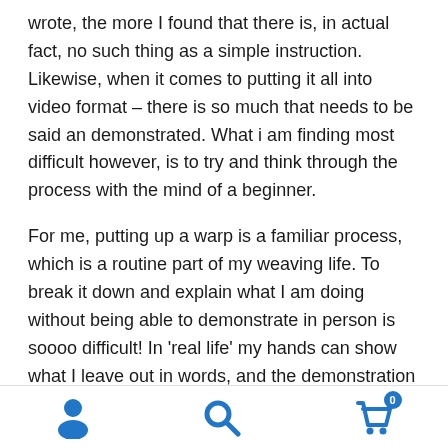wrote, the more I found that there is, in actual fact, no such thing as a simple instruction. Likewise, when it comes to putting it all into video format – there is so much that needs to be said an demonstrated. What i am finding most difficult however, is to try and think through the process with the mind of a beginner.
For me, putting up a warp is a familiar process, which is a routine part of my weaving life. To break it down and explain what I am doing without being able to demonstrate in person is soooo difficult! In 'real life' my hands can show what I leave out in words, and the demonstration and the verbal instruction work hand in hand, each piece of the act filling in the bits that the other one leaves out.
[Figure (infographic): Mobile navigation footer bar with three icons: user/account icon (person silhouette), search icon (magnifying glass), and shopping cart icon with a badge showing '0']